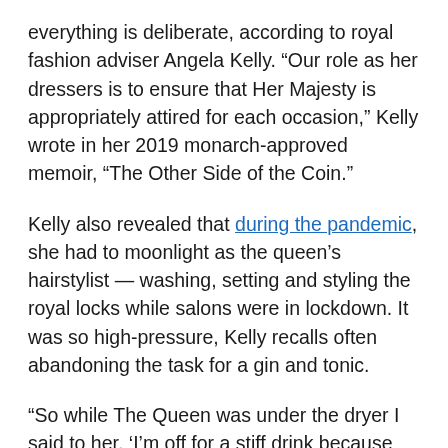everything is deliberate, according to royal fashion adviser Angela Kelly. “Our role as her dressers is to ensure that Her Majesty is appropriately attired for each occasion,” Kelly wrote in her 2019 monarch-approved memoir, “The Other Side of the Coin.”
Kelly also revealed that during the pandemic, she had to moonlight as the queen’s hairstylist — washing, setting and styling the royal locks while salons were in lockdown. It was so high-pressure, Kelly recalls often abandoning the task for a gin and tonic.
“So while The Queen was under the dryer I said to her, ‘I’m off for a stiff drink because this is so stressful, getting it just right for you,’” she